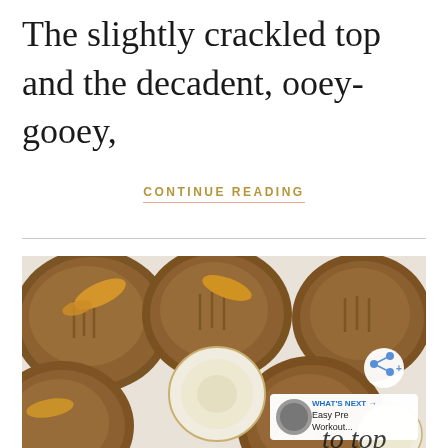The slightly crackled top and the decadent, ooey-gooey,
CONTINUE READING
[Figure (photo): Overhead view of peanut butter cookies on a speckled plate with banana slices and peanut butter drizzle. Bottom right corner shows a 'What's Next' badge with 'Easy Pre Workout...' text and a share button overlay.]